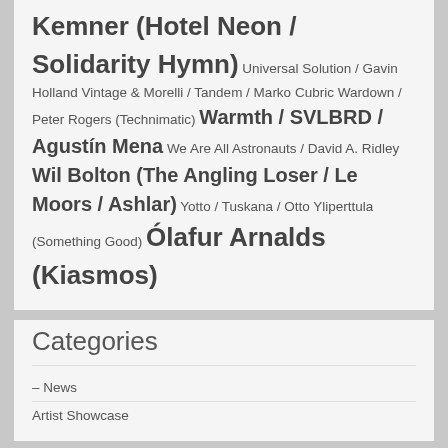Kemner (Hotel Neon / Solidarity Hymn) Universal Solution / Gavin Holland Vintage & Morelli / Tandem / Marko Cubric Wardown / Peter Rogers (Technimatic) Warmth / SVLBRD / Agustín Mena We Are All Astronauts / David A. Ridley Wil Bolton (The Angling Loser / Le Moors / Ashlar) Yotto / Tuskana / Otto Yliperttula (Something Good) Ólafur Arnalds (Kiasmos)
Categories
– News
Artist Showcase